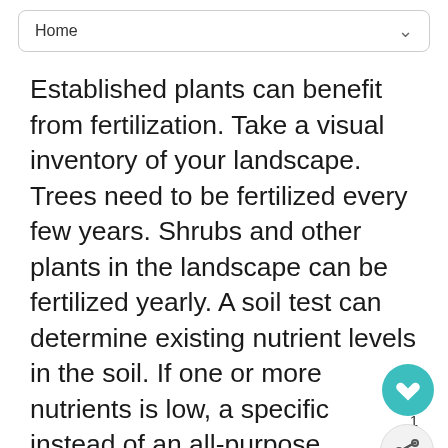Home
Established plants can benefit from fertilization. Take a visual inventory of your landscape. Trees need to be fertilized every few years. Shrubs and other plants in the landscape can be fertilized yearly. A soil test can determine existing nutrient levels in the soil. If one or more nutrients is low, a specific instead of an all-purpose fertilizer may be required. Fertilizers that are high in N, nitrogen, will promote green leafy growth. Excess nitrogen in the soil can cause excessive vegetative growth on plants at the expense of flower bud development. It is best to avoid fertilizing in the growing season. Applications near that time can force lush, vegetative growth that